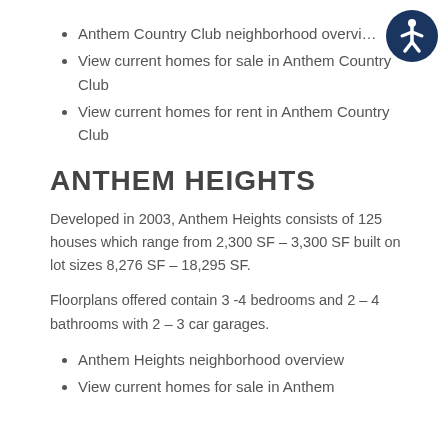Anthem Country Club neighborhood overview
View current homes for sale in Anthem Country Club
View current homes for rent in Anthem Country Club
ANTHEM HEIGHTS
Developed in 2003, Anthem Heights consists of 125 houses which range from 2,300 SF – 3,300 SF built on lot sizes 8,276 SF – 18,295 SF.
Floorplans offered contain 3 -4 bedrooms and 2 – 4 bathrooms with 2 – 3 car garages.
Anthem Heights neighborhood overview
View current homes for sale in Anthem
[Figure (illustration): Accessibility icon — white stick figure on dark blue circle background, top right corner]